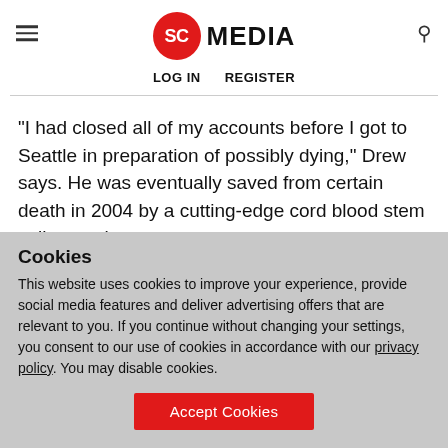SC MEDIA
LOG IN   REGISTER
"I had closed all of my accounts before I got to Seattle in preparation of possibly dying," Drew says. He was eventually saved from certain death in 2004 by a cutting-edge cord blood stem cell transplant.
Not long after he received the letters, the telephone calls...
Cookies
This website uses cookies to improve your experience, provide social media features and deliver advertising offers that are relevant to you. If you continue without changing your settings, you consent to our use of cookies in accordance with our privacy policy. You may disable cookies.
[Accept Cookies]